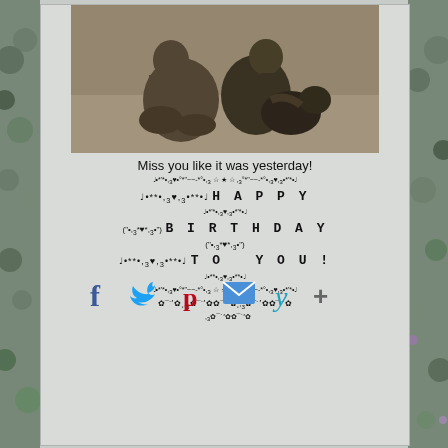[Figure (photo): Sepia/black-and-white photo of two people sitting together on the ground with what appears to be a black dog]
Miss you like it was yesterday!
♩•*'*•,¸♥•°*"~-*°•,¸ ☆ ★ ☆ ¸,•*"°~-*°•,¸♥,•*'*•♩ ♩•**•,¸♥,¸•**•♩ HAPPY ♩•*'*•,¸♥,•*'*•♩ ("•,¸*♥*,¸•") BIRTHDAY ("•,¸*♥*,¸•") ♩•**•,¸♥,•**•♩ TO YOU! ♩•**•,¸♥,•**•♩ ♩•*'*•,¸♥•°*"~-*°•,¸ ☆ ★ ☆ ¸,•°*"~-*°•,¸♥,•*'*•♩ ✿¯`ʼ✿¸,¸✿¯`ʼ✿✿¯`ʼ✿¸,¸✿¯`ʼ✿✿¯`ʼ✿ ¸,¸✿¯`ʼ✿✿¯`ʼ✿
[Figure (infographic): Social media sharing icons: Facebook (f), Twitter bird, Pinterest (p), Email envelope, Yummly (y), Plus/more icon]